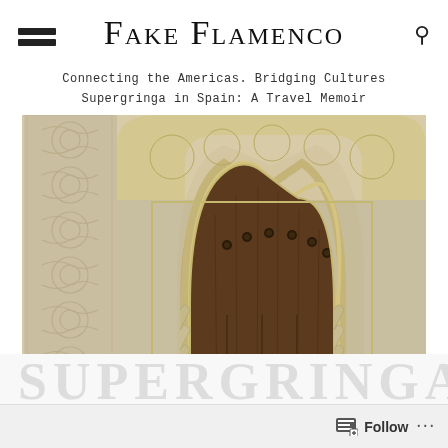FAKE FLAMENCO
Connecting the Americas. Bridging Cultures
Supergringa in Spain: A Travel Memoir
[Figure (photo): Close-up photograph of an ornate Moorish-style arched wooden door with intricate carved stone/plaster arabesque decorations surrounding the horseshoe arch, set in a wall with detailed Islamic geometric and floral relief patterns. The door is dark walnut wood with metal studs.]
Follow ...